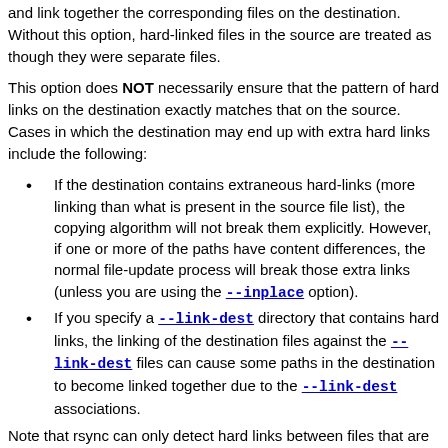and link together the corresponding files on the destination. Without this option, hard-linked files in the source are treated as though they were separate files.
This option does NOT necessarily ensure that the pattern of hard links on the destination exactly matches that on the source. Cases in which the destination may end up with extra hard links include the following:
If the destination contains extraneous hard-links (more linking than what is present in the source file list), the copying algorithm will not break them explicitly. However, if one or more of the paths have content differences, the normal file-update process will break those extra links (unless you are using the --inplace option).
If you specify a --link-dest directory that contains hard links, the linking of the destination files against the --link-dest files can cause some paths in the destination to become linked together due to the --link-dest associations.
Note that rsync can only detect hard links between files that are inside the transfer set. If rsync updates a file that